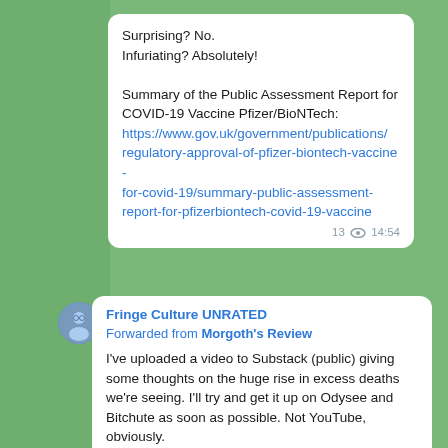[Figure (screenshot): Telegram messenger screenshot showing two message bubbles on a green background with cat-themed wallpaper. First bubble contains text about a Public Assessment Report for COVID-19 Vaccine Pfizer/BioNTech with a gov.uk link. Second bubble is forwarded from Morgoth's Review via Fringe Culture UNRATED, about a video on Substack regarding excess deaths.]
Surprising? No.
Infuriating? Absolutely!

Summary of the Public Assessment Report for COVID-19 Vaccine Pfizer/BioNTech:
https://www.gov.uk/government/publications/regulatory-approval-of-pfizer-biontech-vaccine-for-covid-19/summary-public-assessment-report-for-pfizerbiontech-covid-19-vaccine
Fringe Culture UNRATED
Forwarded from Morgoth's Review
I've uploaded a video to Substack (public) giving some thoughts on the huge rise in excess deaths we're seeing. I'll try and get it up on Odysee and Bitchute as soon as possible. Not YouTube, obviously.
https://morgoth.substack.com/p/ruminating-